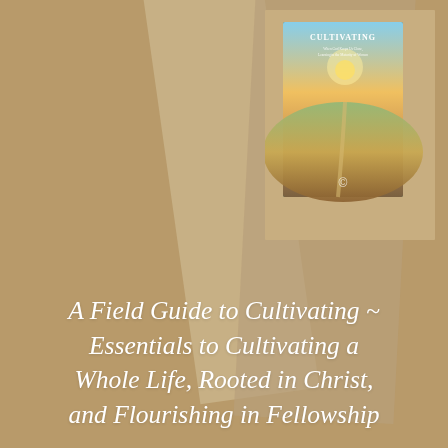[Figure (illustration): A book cover for 'Cultivating' showing a pastoral landscape with rolling fields, a path, and sunlight, displayed against a warm tan/brown background with overlapping paper shapes]
A Field Guide to Cultivating ~ Essentials to Cultivating a Whole Life, Rooted in Christ, and Flourishing in Fellowship